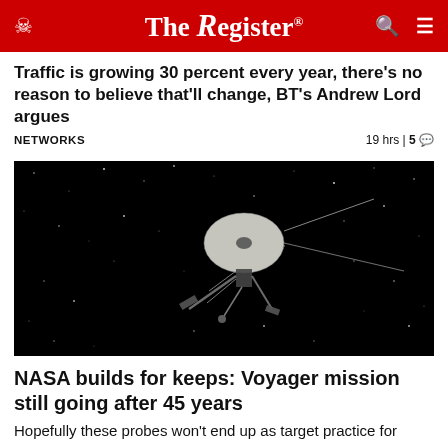The Register®
Traffic is growing 30 percent every year, there's no reason to believe that'll change, BT's Andrew Lord argues
NETWORKS   19 hrs | 5 comments
[Figure (photo): Illustration of a NASA Voyager spacecraft against a black starfield]
NASA builds for keeps: Voyager mission still going after 45 years
Hopefully these probes won't end up as target practice for